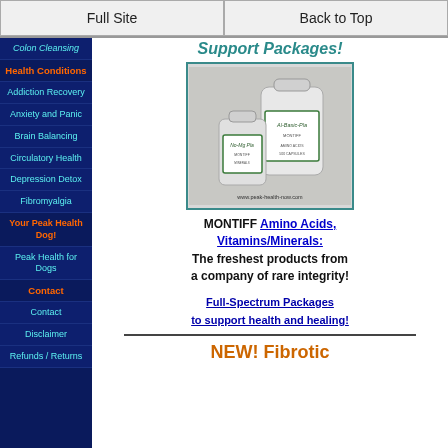Full Site | Back to Top
Colon Cleansing
Health Conditions
Addiction Recovery
Anxiety and Panic
Brain Balancing
Circulatory Health
Depression Detox
Fibromyalgia
Your Peak Health Dog!
Peak Health for Dogs
Contact
Contact
Disclaimer
Refunds / Returns
Support Packages!
[Figure (photo): Two supplement bottles from MONTIFF brand on www.peak-health-now.com]
MONTIFF Amino Acids, Vitamins/Minerals: The freshest products from a company of rare integrity!
Full-Spectrum Packages to support health and healing!
NEW! Fibrotic